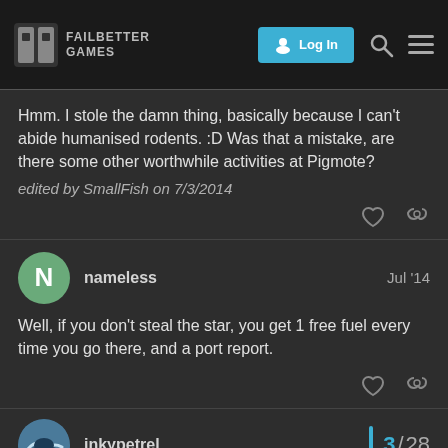FAILBETTER GAMES — Log In
Hmm. I stole the damn thing, basically because I can't abide humanised rodents. :D Was that a mistake, are there some other worthwhile activities at Pigmote?
edited by SmallFish on 7/3/2014
nameless — Jul '14
Well, if you don't steal the star, you get 1 free fuel every time you go there, and a port report.
inkypetrel — 3/28